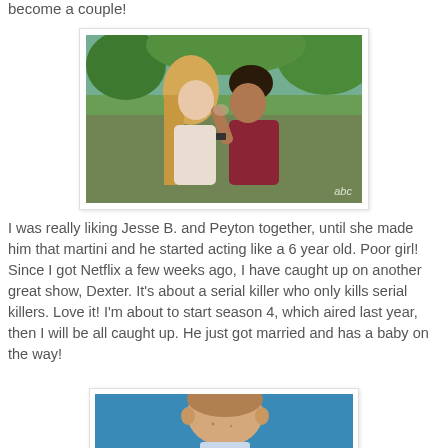become a couple!
[Figure (photo): A couple kissing outdoors with green trees and blue sky background. ABC watermark visible in bottom right corner.]
I was really liking Jesse B. and Peyton together, until she made him that martini and he started acting like a 6 year old. Poor girl!
Since I got Netflix a few weeks ago, I have caught up on another great show, Dexter. It's about a serial killer who only kills serial killers. Love it! I'm about to start season 4, which aired last year, then I will be all caught up. He just got married and has a baby on the way!
[Figure (photo): A man with light brown hair against a blue background, appearing to be a promotional photo for the TV show Dexter.]